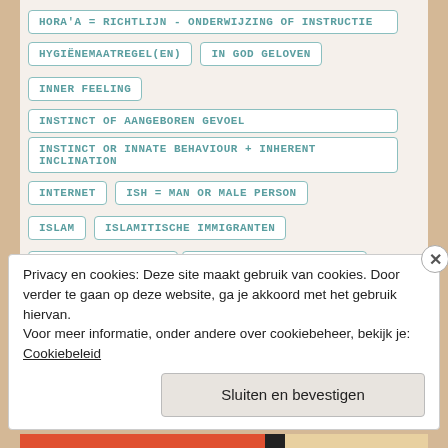HORA'A = RICHTLIJN - ONDERWIJZING OF INSTRUCTIE
HYGIËNEMAATREGEL(EN)
IN GOD GELOVEN
INNER FEELING
INSTINCT OF AANGEBOREN GEVOEL
INSTINCT OR INNATE BEHAVIOUR + INHERENT INCLINATION
INTERNET
ISH = MAN OR MALE PERSON
ISLAM
ISLAMITISCHE IMMIGRANTEN
ISSOU OF HEIL ZEUS
ITZAVON (PIJN – LIJDEN)
Privacy en cookies: Deze site maakt gebruik van cookies. Door verder te gaan op deze website, ga je akkoord met het gebruik hiervan. Voor meer informatie, onder andere over cookiebeheer, bekijk je: Cookiebeleid
Sluiten en bevestigen